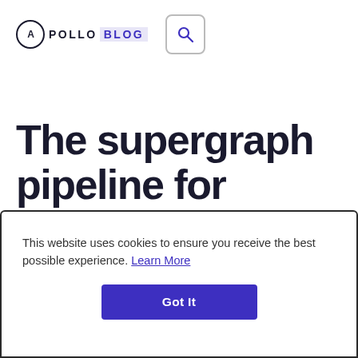APOLLO BLOG
The supergraph pipeline for everyone
Supergraphs are transformational for
This website uses cookies to ensure you receive the best possible experience. Learn More
Got It